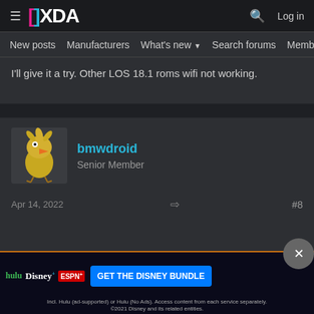XDA Forums — New posts | Manufacturers | What's new | Search forums | Members
I'll give it a try. Other LOS 18.1 roms wifi not working.
bmwdroid
Senior Member
Apr 14, 2022  #8
@retiredtab, @ananjaser1211, @lpedia, @Yogi555 and @CuckooPengu...
thx very much for your work.
Until yesterday mine was on lineees build from 20211103 which was stable and wor... ...208.
Clean ins... ...latest TWRP wh... ...1.2...
Flashed it with Magisk 23, (wanted to make sure that Gapps didn't